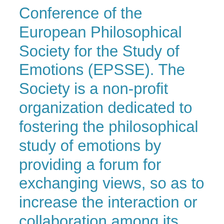Conference of the European Philosophical Society for the Study of Emotions (EPSSE). The Society is a non-profit organization dedicated to fostering the philosophical study of emotions by providing a forum for exchanging views, so as to increase the interaction or collaboration among its members. The Society will make a special effort to involve young philosophers in its activities. Although the title of the Society refers to